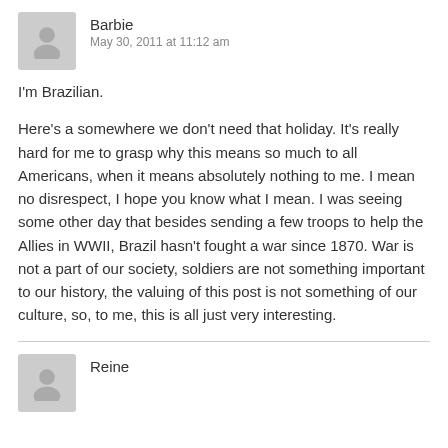[Figure (illustration): Gray avatar placeholder icon of a person silhouette for user Barbie]
Barbie
May 30, 2011 at 11:12 am
I'm Brazilian.
Here's a somewhere we don't need that holiday. It's really hard for me to grasp why this means so much to all Americans, when it means absolutely nothing to me. I mean no disrespect, I hope you know what I mean. I was seeing some other day that besides sending a few troops to help the Allies in WWII, Brazil hasn't fought a war since 1870. War is not a part of our society, soldiers are not something important to our history, the valuing of this post is not something of our culture, so, to me, this is all just very interesting.
[Figure (illustration): Gray avatar placeholder icon of a person silhouette for user Reine]
Reine